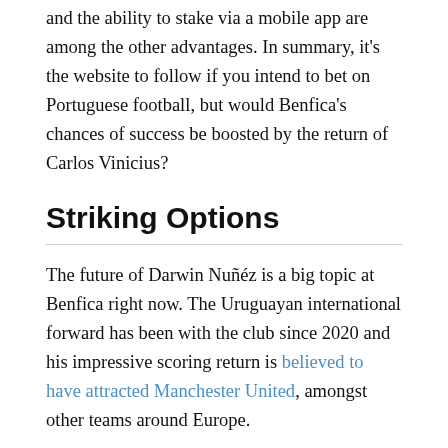and the ability to stake via a mobile app are among the other advantages. In summary, it's the website to follow if you intend to bet on Portuguese football, but would Benfica's chances of success be boosted by the return of Carlos Vinicius?
Striking Options
The future of Darwin Nuñéz is a big topic at Benfica right now. The Uruguayan international forward has been with the club since 2020 and his impressive scoring return is believed to have attracted Manchester United, amongst other teams around Europe.
While there are other, capable strikers in the current squad, if Nuñéz does depart then he will need to be replaced. Existing players such as Haris Seferovic and Roman Yaremchuk will need to step up and take greater responsibility, but an external purchase would doubtless follow.
Looking at the potential comings and goings at Benfica makes it even harder to understand why Carlos Vinicius has been left out in the cold. His scoring record at the club stands up to the majority of his